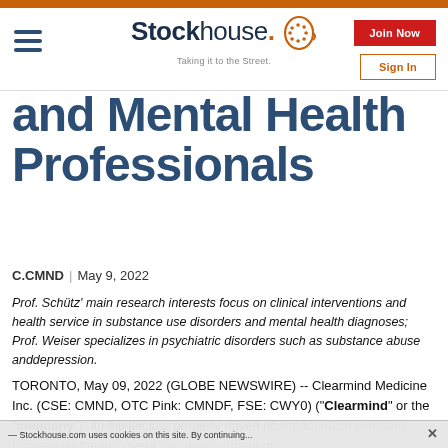Stockhouse — Taking it to the Street.
and Mental Health Professionals
C.CMND | May 9, 2022
Prof. Schütz' main research interests focus on clinical interventions and health service in substance use disorders and mental health diagnoses; Prof. Weiser specializes in psychiatric disorders such as substance abuse anddepression.
TORONTO, May 09, 2022 (GLOBE NEWSWIRE) -- Clearmind Medicine Inc. (CSE: CMND, OTC Pink: CMNDF, FSE: CWY0) ("Clearmind" or the "company"), an intellectual property driven pharmaceutical company focused on the discovery and development of
Stockhouse.com uses cookies on this site. By continuing...